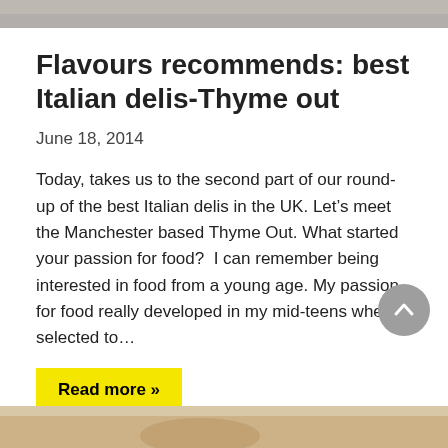[Figure (photo): Top banner photo strip showing food/deli scene, partially cropped]
Flavours recommends: best Italian delis-Thyme out
June 18, 2014
Today, takes us to the second part of our round-up of the best Italian delis in the UK. Let’s meet the Manchester based Thyme Out. What started your passion for food?  I can remember being interested in food from a young age. My passion for food really developed in my mid-teens when I selected to…
Read more »
[Figure (photo): Bottom partial photo, warm tones, food/deli scene]